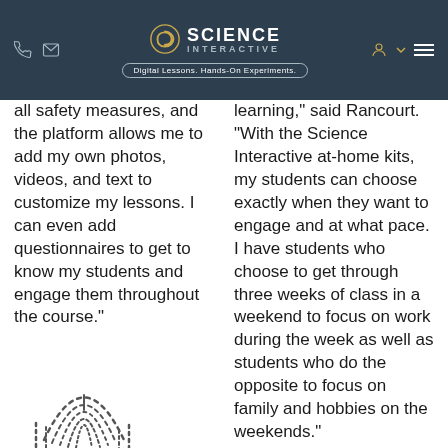Science Interactive — Digital Lessons. Hands-On Experiments.
all safety measures, and the platform allows me to add my own photos, videos, and text to customize my lessons. I can even add questionnaires to get to know my students and engage them throughout the course."
[Figure (illustration): Fingerprint icon outline illustration in dark gray]
At a loss for how to
learning," said Rancourt. "With the Science Interactive at-home kits, my students can choose exactly when they want to engage and at what pace. I have students who choose to get through three weeks of class in a weekend to focus on work during the week as well as students who do the opposite to focus on family and hobbies on the weekends."